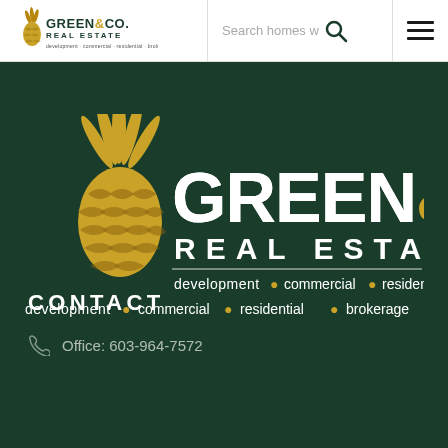Green & Co. Real Estate — Search homes — Navigation menu
[Figure (logo): Green & Co. Real Estate logo with pineapple icon, white and gold text on dark green background, tagline: development · commercial · residential · brokerage]
CONTACT
Office: 603-964-7572